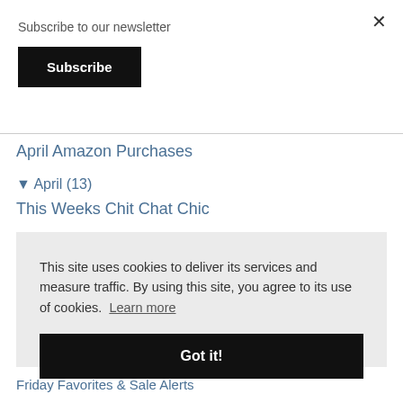Subscribe to our newsletter
Subscribe
April Amazon Purchases
▼ April (13)
This Weeks Chit Chat Chic
This site uses cookies to deliver its services and measure traffic. By using this site, you agree to its use of cookies. Learn more
Got it!
Friday Favorites & Sale Alerts